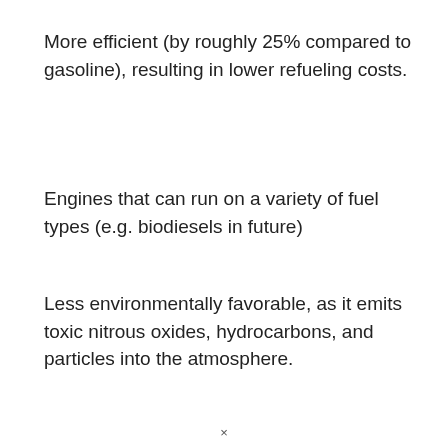More efficient (by roughly 25% compared to gasoline), resulting in lower refueling costs.
Engines that can run on a variety of fuel types (e.g. biodiesels in future)
Less environmentally favorable, as it emits toxic nitrous oxides, hydrocarbons, and particles into the atmosphere.
×